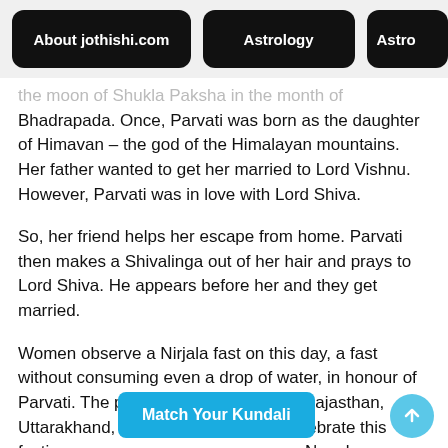About jothishi.com | Astrology | Astro
the moon of Shukla Paksha in the month of Bhadrapada. Once, Parvati was born as the daughter of Himavan – the god of the Himalayan mountains. Her father wanted to get her married to Lord Vishnu. However, Parvati was in love with Lord Shiva.
So, her friend helps her escape from home. Parvati then makes a Shivalinga out of her hair and prays to Lord Shiva. He appears before her and they get married.
Women observe a Nirjala fast on this day, a fast without consuming even a drop of water, in honour of Parvati. The people of Uttar Pradesh, Rajasthan, Uttarakhand, Bihar, and Jharkhand celebrate this festival... in Nepal.